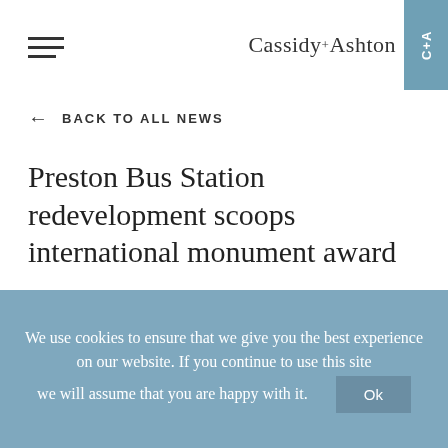Cassidy+Ashton
← BACK TO ALL NEWS
Preston Bus Station redevelopment scoops international monument award
A project in which Cassidy + Ashton's Preston team played a major role has won yet another award, this time on the international stage.
We use cookies to ensure that we give you the best experience on our website. If you continue to use this site we will assume that you are happy with it.  Ok